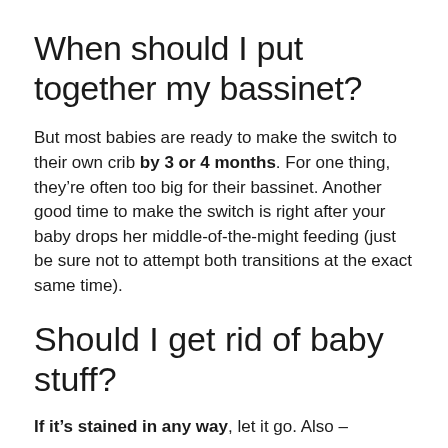When should I put together my bassinet?
But most babies are ready to make the switch to their own crib by 3 or 4 months. For one thing, they're often too big for their bassinet. Another good time to make the switch is right after your baby drops her middle-of-the-might feeding (just be sure not to attempt both transitions at the exact same time).
Should I get rid of baby stuff?
If it's stained in any way, let it go. Also –